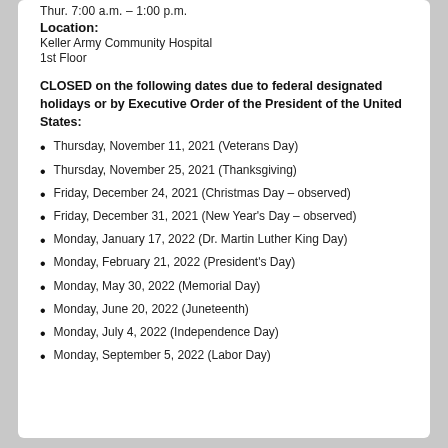Thur. 7:00 a.m. – 1:00 p.m.
Location:
Keller Army Community Hospital
1st Floor
CLOSED on the following dates due to federal designated holidays or by Executive Order of the President of the United States:
Thursday, November 11, 2021 (Veterans Day)
Thursday, November 25, 2021 (Thanksgiving)
Friday, December 24, 2021 (Christmas Day – observed)
Friday, December 31, 2021 (New Year's Day – observed)
Monday, January 17, 2022 (Dr. Martin Luther King Day)
Monday, February 21, 2022 (President's Day)
Monday, May 30, 2022 (Memorial Day)
Monday, June 20, 2022 (Juneteenth)
Monday, July 4, 2022 (Independence Day)
Monday, September 5, 2022 (Labor Day)